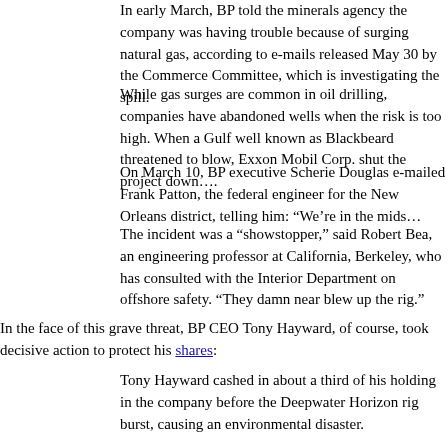In early March, BP told the minerals agency the company was having trouble because of surging natural gas, according to e-mails released May 30 by the Commerce Committee, which is investigating the spill.
While gas surges are common in oil drilling, companies have abandoned wells when the risk is too high. When a Gulf well known as Blackbeard threatened to blow, Exxon Mobil Corp. shut the project down….
On March 10, BP executive Scherie Douglas e-mailed Frank Patton, the federal engineer for the New Orleans district, telling him: "We're in the mids…
The incident was a "showstopper," said Robert Bea, an engineering professor at California, Berkeley, who has consulted with the Interior Department on offshore safety. "They damn near blew up the rig."
In the face of this grave threat, BP CEO Tony Hayward, of course, took decisive action to protect his shares:
Tony Hayward cashed in about a third of his holding in the company before the Deepwater Horizon rig burst, causing an environmental disaster.
…he avoided losing more than £423,000 when BP's share price plummeted…
P.S. There's no evidence Hayward sold his shares because of the dangerous situation… should at least have known when he sold his shares that BP had a very dangerous…